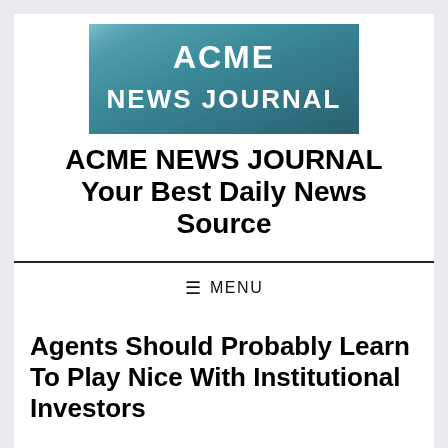[Figure (logo): ACME News Journal logo banner with teal/blue gradient background and white bold text reading 'ACME NEWS JOURNAL']
ACME NEWS JOURNAL Your Best Daily News Source
≡ MENU
Agents Should Probably Learn To Play Nice With Institutional Investors